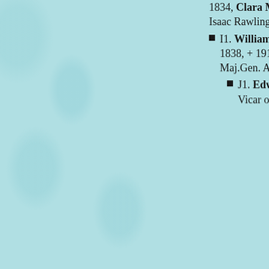1834, Clara Mary Elizabeth Hartman, + 1877, d. of Isaac Rawlings Hartman, of Anglesea.
I1. William Seymour Selby-Lowndes, Capt., * 1838, + 1916, Md. 1870, Cecilia Jane Hall, d. of Maj.Gen. Arthur Hall, of Tymour, Breconshire.
J1. Edward Arthur Selby-Lowndes, Rev., Vicar of Whaddon, Buckinghamshire, * 1873, +